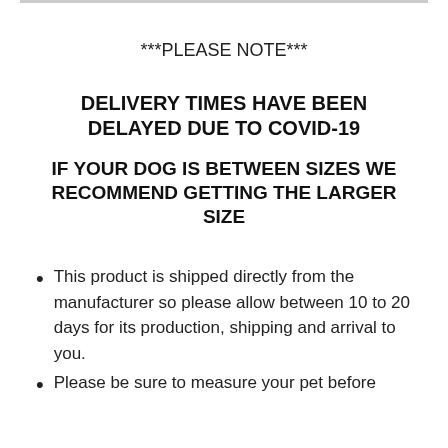***PLEASE NOTE***
DELIVERY TIMES HAVE BEEN DELAYED DUE TO COVID-19
IF YOUR DOG IS BETWEEN SIZES WE RECOMMEND GETTING THE LARGER SIZE
This product is shipped directly from the manufacturer so please allow between 10 to 20 days for its production, shipping and arrival to you.
Please be sure to measure your pet before...